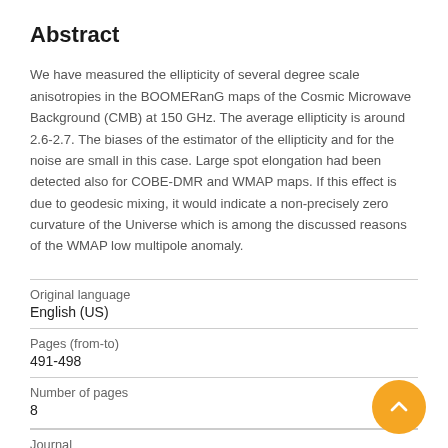Abstract
We have measured the ellipticity of several degree scale anisotropies in the BOOMERanG maps of the Cosmic Microwave Background (CMB) at 150 GHz. The average ellipticity is around 2.6-2.7. The biases of the estimator of the ellipticity and for the noise are small in this case. Large spot elongation had been detected also for COBE-DMR and WMAP maps. If this effect is due to geodesic mixing, it would indicate a non-precisely zero curvature of the Universe which is among the discussed reasons of the WMAP low multipole anomaly.
| Original language |  |
| English (US) |  |
| Pages (from-to) |  |
| 491-498 |  |
| Number of pages |  |
| 8 |  |
| Journal |  |